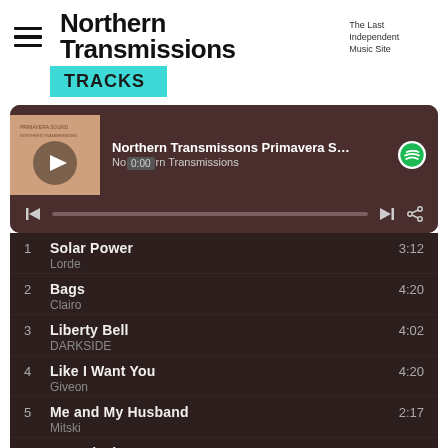Northern Transmissions — The Last Independent Music Site
Tracks
[Figure (screenshot): Spotify embedded player showing 'Northern Transmissons Primavera Soun...' playlist by Northern Transmissions, with album art, play button, progress bar at 0:00, skip and share controls]
1 Solar Power — Lorde — 3:12
2 Bags — Clairo — 4:20
3 Liberty Bell — DARKSIDE — 4:02
4 Like I Want You — Giveon — 4:20
5 Me and My Husband — Mitski — 2:17
6 New Flesh — Current Joys — 2:47